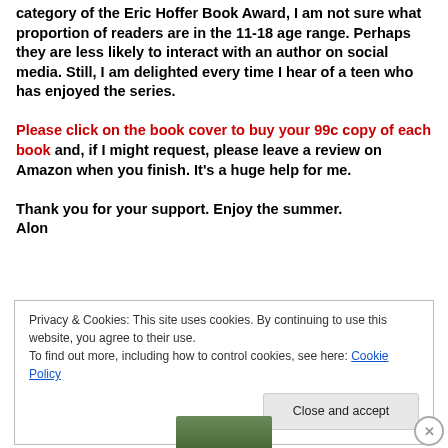category of the Eric Hoffer Book Award, I am not sure what proportion of readers are in the 11-18 age range. Perhaps they are less likely to interact with an author on social media. Still, I am delighted every time I hear of a teen who has enjoyed the series. Please click on the book cover to buy your 99c copy of each book and, if I might request, please leave a review on Amazon when you finish. It's a huge help for me. Thank you for your support. Enjoy the summer. Alon
Privacy & Cookies: This site uses cookies. By continuing to use this website, you agree to their use. To find out more, including how to control cookies, see here: Cookie Policy